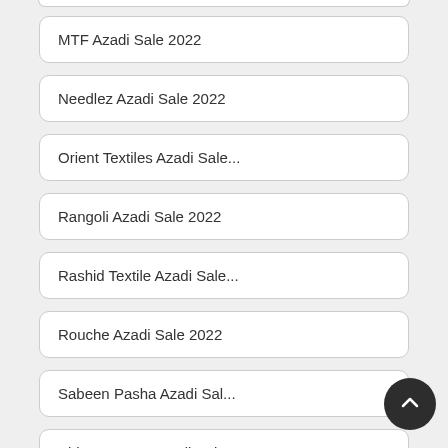MTF Azadi Sale 2022
Needlez Azadi Sale 2022
Orient Textiles Azadi Sale...
Rangoli Azadi Sale 2022
Rashid Textile Azadi Sale...
Rouche Azadi Sale 2022
Sabeen Pasha Azadi Sal...
Shiza Hassan Azadi Sale...
Sitara Studio Azadi Sale ...
Subhata Azadi Sale 2022
Tarzz Azadi Sale 2022